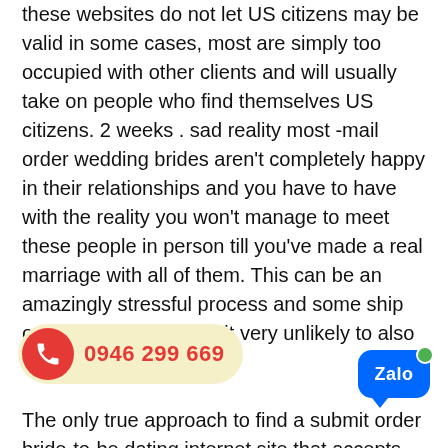these websites do not let US citizens may be valid in some cases, most are simply too occupied with other clients and will usually take on people who find themselves US citizens. 2 weeks . sad reality most -mail order wedding brides aren't completely happy in their relationships and you have to have with the reality you won't manage to meet these people in person till you've made a real marriage with all of them. This can be an amazingly stressful process and some ship order birdes-to-be find it very unlikely to also travel to their weddings.
The only true approach to find a submit order bride-to-be dating internet site that accepts US citizens is to use an international dating agency. These kinds of agencies own large sources of happy brides coming from throughout the world and they will be a little more than pleased to get you re... databases will likewise allow you to... actly what you would li... which should make the process of finding a bride much ... enjoyable. You can aquire married rapidly when compared
[Figure (infographic): Phone badge with red circle phone icon and number 0946 299 669 on yellow background]
[Figure (logo): Zalo blue chat bubble logo with green dot]